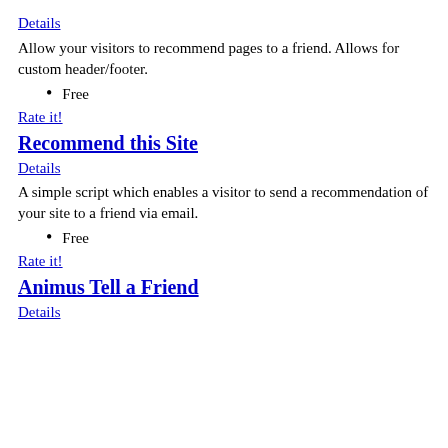Details
Allow your visitors to recommend pages to a friend. Allows for custom header/footer.
Free
Rate it!
Recommend this Site
Details
A simple script which enables a visitor to send a recommendation of your site to a friend via email.
Free
Rate it!
Animus Tell a Friend
Details